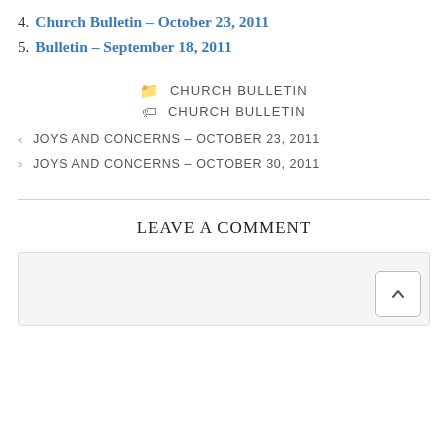4. Church Bulletin – October 23, 2011
5. Bulletin – September 18, 2011
CHURCH BULLETIN (category)
CHURCH BULLETIN (tag)
< JOYS AND CONCERNS – OCTOBER 23, 2011
> JOYS AND CONCERNS – OCTOBER 30, 2011
LEAVE A COMMENT